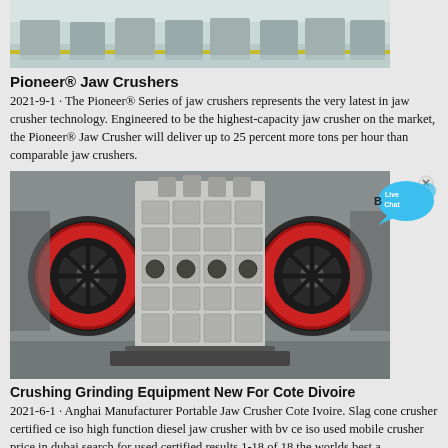[Figure (photo): Top portion of a factory/warehouse image showing jaw crushers on assembly floor with green and white floor markings]
Pioneer® Jaw Crushers
2021-9-1 · The Pioneer® Series of jaw crushers represents the very latest in jaw crusher technology. Engineered to be the highest-capacity jaw crusher on the market, the Pioneer® Jaw Crusher will deliver up to 25 percent more tons per hour than comparable jaw crushers.
[Figure (photo): Front view of a large industrial jaw crusher machine with red flywheels on both sides and a gridded crushing chamber in the center, shown in a manufacturing facility]
Crushing Grinding Equipment New For Cote Divoire
2021-6-1 · Anghai Manufacturer Portable Jaw Crusher Cote Ivoire. Slag cone crusher certified ce iso high function diesel jaw crusher with bv ce iso used mobile crusher price in dubai search for used certified results 1-18 of 18 the worlds best a